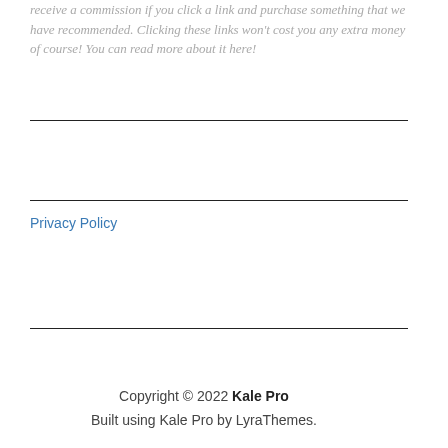receive a commission if you click a link and purchase something that we have recommended. Clicking these links won't cost you any extra money of course! You can read more about it here!
Privacy Policy
Copyright © 2022 Kale Pro
Built using Kale Pro by LyraThemes.